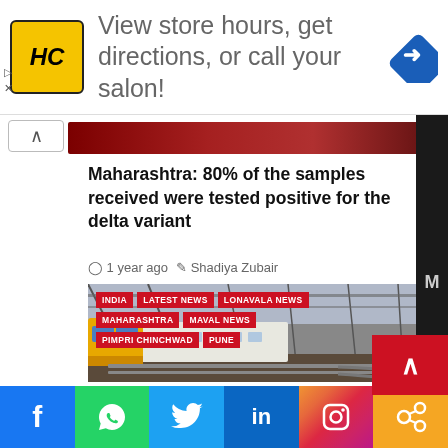[Figure (other): Advertisement banner: HC logo (yellow), text 'View store hours, get directions, or call your salon!', navigation arrow diamond icon]
Maharashtra: 80% of the samples received were tested positive for the delta variant
1 year ago   Shadiya Zubair
[Figure (photo): Train on railway tracks with overhead infrastructure, red category tag labels: INDIA, LATEST NEWS, LONAVALA NEWS, MAHARASHTRA, MAVAL NEWS, PIMPRI CHINCHWAD, PUNE]
Social sharing bar: Facebook, WhatsApp, Twitter, LinkedIn, Instagram, Share